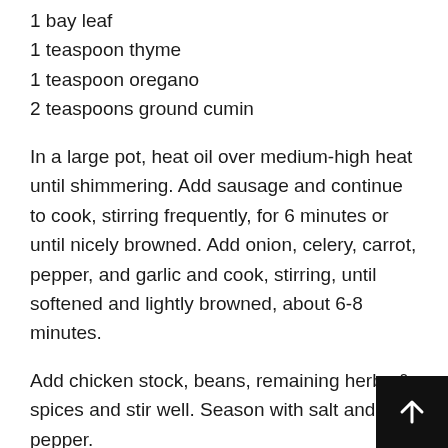1 bay leaf
1 teaspoon thyme
1 teaspoon oregano
2 teaspoons ground cumin
In a large pot, heat oil over medium-high heat until shimmering. Add sausage and continue to cook, stirring frequently, for 6 minutes or until nicely browned. Add onion, celery, carrot, pepper, and garlic and cook, stirring, until softened and lightly browned, about 6-8 minutes.
Add chicken stock, beans, remaining herbs & spices and stir well. Season with salt and pepper.
Bring to a boil, reduce to a simmer and cook, uncovered, stirring occasionally, for 30-45 minutes. Discard bay leaf. Place 1-2 cups (depending on desired thickness) of soup in a blender. Blend on high until completely